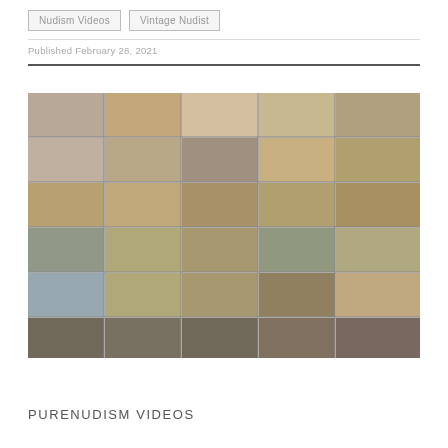Nudism Videos
Vintage Nudist
Published February 28, 2021
[Figure (photo): Grid of outdoor nudism video thumbnails arranged in 6 rows and 5-6 columns showing various outdoor scenes]
PURENUDISM VIDEOS